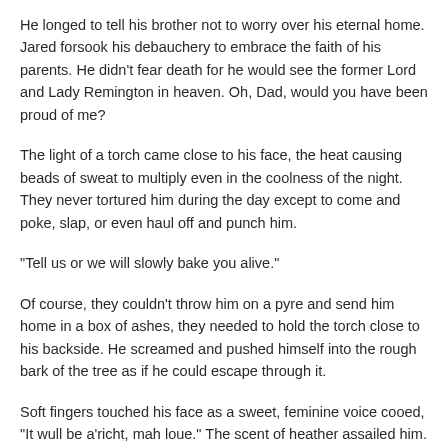He longed to tell his brother not to worry over his eternal home. Jared forsook his debauchery to embrace the faith of his parents. He didn't fear death for he would see the former Lord and Lady Remington in heaven. Oh, Dad, would you have been proud of me?
The light of a torch came close to his face, the heat causing beads of sweat to multiply even in the coolness of the night. They never tortured him during the day except to come and poke, slap, or even haul off and punch him.
“Tell us or we will slowly bake you alive.”
Of course, they couldn't throw him on a pyre and send him home in a box of ashes, they needed to hold the torch close to his backside. He screamed and pushed himself into the rough bark of the tree as if he could escape through it.
Soft fingers touched his face as a sweet, feminine voice cooed, “It wull be a'richt, mah loue.” The scent of heather assailed him. Was this a new form of torture? The lyrical voice continued to whisper, “may loue, yer safe, na yin wull harm ye noo.”